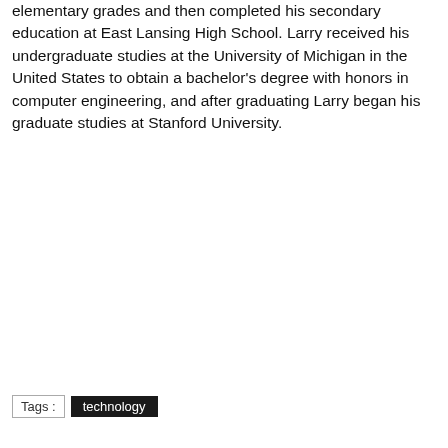elementary grades and then completed his secondary education at East Lansing High School. Larry received his undergraduate studies at the University of Michigan in the United States to obtain a bachelor's degree with honors in computer engineering, and after graduating Larry began his graduate studies at Stanford University.
Tags : technology